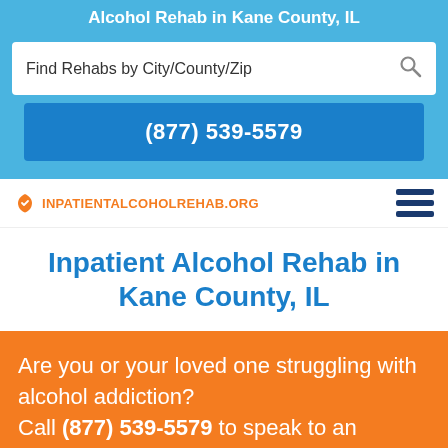Alcohol Rehab in Kane County, IL
Find Rehabs by City/County/Zip
(877) 539-5579
InpatientAlcoholRehab.org
Inpatient Alcohol Rehab in Kane County, IL
Are you or your loved one struggling with alcohol addiction? Call (877) 539-5579 to speak to an